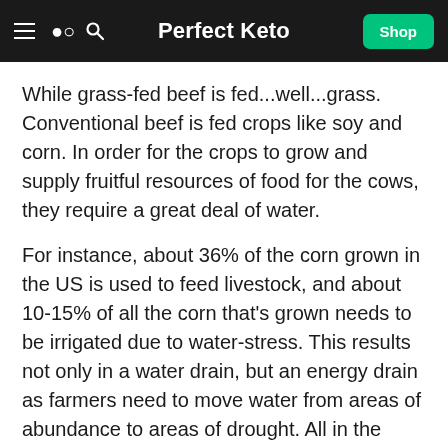Perfect Keto
While grass-fed beef is fed...well...grass. Conventional beef is fed crops like soy and corn. In order for the crops to grow and supply fruitful resources of food for the cows, they require a great deal of water.
For instance, about 36% of the corn grown in the US is used to feed livestock, and about 10-15% of all the corn that's grown needs to be irrigated due to water-stress. This results not only in a water drain, but an energy drain as farmers need to move water from areas of abundance to areas of drought. All in the name of feeding livestock.